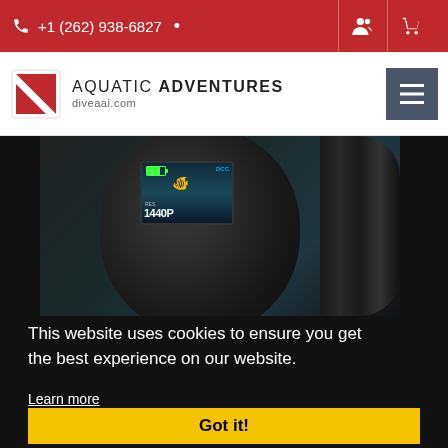+1 (262) 938-6827
[Figure (logo): Aquatic Adventures dive flag logo with text AQUATIC ADVENTURES diveaai.com]
[Figure (photo): Close-up of an underwater camera/action camera showing a screen displaying 1440P resolution and DCC mode with an underwater scene]
This website uses cookies to ensure you get the best experience on our website.
Learn more
Got it!